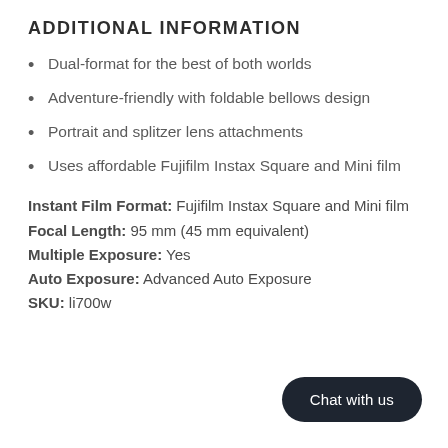ADDITIONAL INFORMATION
Dual-format for the best of both worlds
Adventure-friendly with foldable bellows design
Portrait and splitzer lens attachments
Uses affordable Fujifilm Instax Square and Mini film
Instant Film Format: Fujifilm Instax Square and Mini film
Focal Length: 95 mm (45 mm equivalent)
Multiple Exposure: Yes
Auto Exposure: Advanced Auto Exposure
SKU: li700w
Chat with us